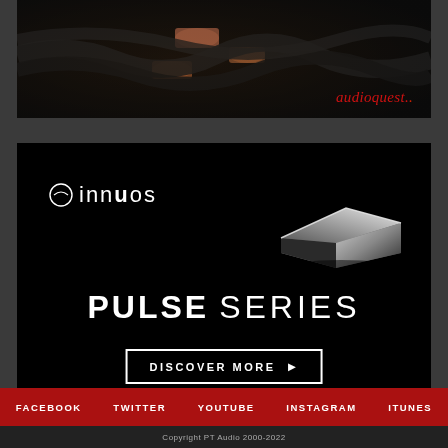[Figure (photo): AudioQuest advertisement showing braided audio cables with gold/copper connectors on dark background, with the audioquest. logo in red italic text at bottom right]
[Figure (photo): Innuos advertisement on black background showing the innuos logo with ring symbol, a geometric angular metallic device (Pulse Series streamer), the text PULSE SERIES in large white bold/light type, and a DISCOVER MORE button with arrow pointing right]
FACEBOOK   TWITTER   YOUTUBE   INSTAGRAM   ITUNES
Copyright PT Audio 2000-2022